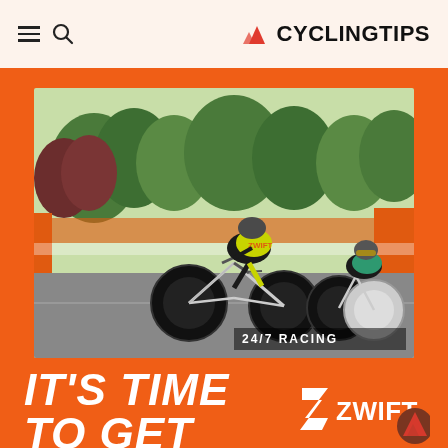CYCLINGTIPS
[Figure (screenshot): Screenshot of Zwift virtual cycling game showing animated cyclists racing in an outdoor environment with trees and orange banners. Text overlay reads '24/7 RACING'.]
IT'S TIME TO GET ZWIFTING
[Figure (logo): Zwift logo: Z icon followed by ZWIFT text in white on orange background]